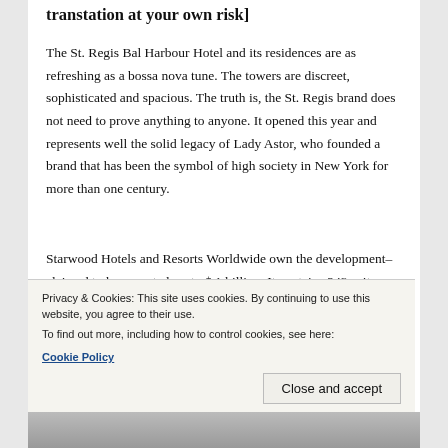transtation at your own risk]
The St. Regis Bal Harbour Hotel and its residences are as refreshing as a bossa nova tune. The towers are discreet, sophisticated and spacious. The truth is, the St. Regis brand does not need to prove anything to anyone. It opened this year and represents well the solid legacy of Lady Astor, who founded a brand that has been the symbol of high society in New York for more than one century.
Starwood Hotels and Resorts Worldwide own the development–claimed to have cost close to $ 1 billion. It contains 243 suites and two residential towers with 245 apartments ranging in price from $
Privacy & Cookies: This site uses cookies. By continuing to use this website, you agree to their use.
To find out more, including how to control cookies, see here: Cookie Policy
Close and accept